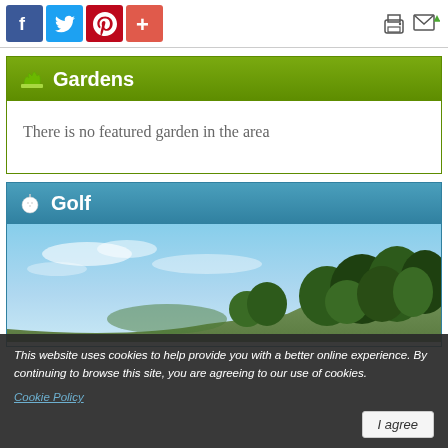[Figure (screenshot): Social sharing icons: Facebook (blue), Twitter (light blue), Pinterest (red), plus/share (orange-red). Top right: print and email/export icons.]
Gardens
There is no featured garden in the area
Golf
[Figure (photo): Outdoor photo of a golf course with trees and blue sky with light clouds]
This website uses cookies to help provide you with a better online experience. By continuing to browse this site, you are agreeing to our use of cookies. Cookie Policy
I agree